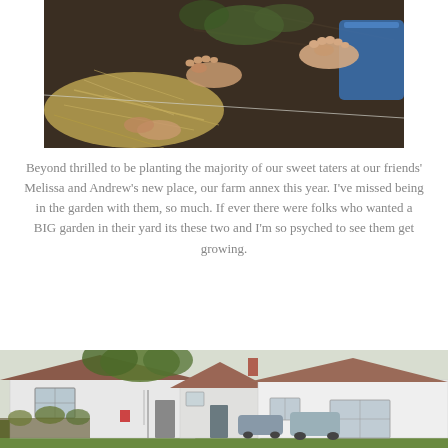[Figure (photo): Overhead view of bare feet and hands working in garden soil with hay/straw mulch and a blue container visible]
Beyond thrilled to be planting the majority of our sweet taters at our friends’ Melissa and Andrew’s new place, our farm annex this year. I’ve missed being in the garden with them, so much. If ever there were folks who wanted a BIG garden in their yard its these two and I’m so psyched to see them get growing.
[Figure (photo): Exterior view of small white residential houses with brown roofs, a grey door, parked cars, and green lawn in front]